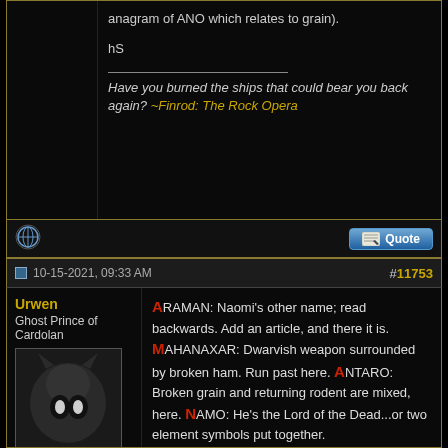anagram of ANO which relates to grain).

hS
Have you burned the ships that could bear you back again? ~Finrod: The Rock Opera
10-15-2021, 09:33 AM
#11753
Urwen
Ghost Prince of Cardolan
Join Date: Feb 2010
Location: Meneltarma
Posts: 5,091
ARAMAN: Naomi's other name; read backwards. Add an article, and there it is. MAHANAXAR: Dwarvish weapon surrounded by broken ham. Run past here. ANTARO: Broken grain and returning rodent are mixed, here. NAMO: He's the Lord of the Dead...or two element symbols put together.

And you know the drill.